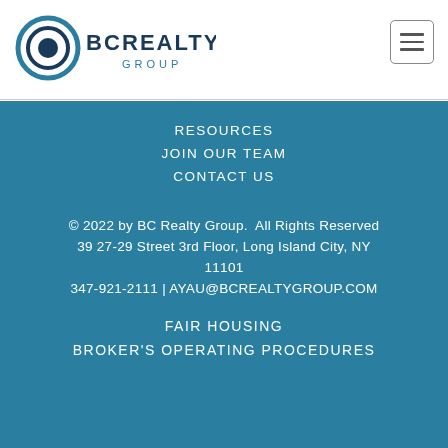[Figure (logo): BC Realty Group logo with concentric circle icon and text]
RESOURCES
JOIN OUR TEAM
CONTACT US
© 2022 by BC Realty Group.  All Rights Reserved
39 27-29 Street 3rd Floor, Long Island City, NY 11101
347-921-2111 | AYAU@BCREALTYGROUP.COM
FAIR HOUSING
BROKER'S OPERATING PROCEDURES